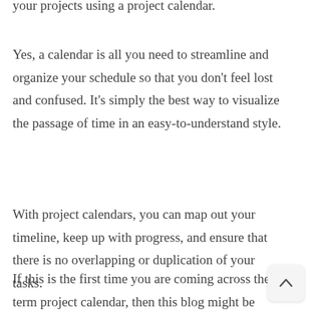your projects using a project calendar.
Yes, a calendar is all you need to streamline and organize your schedule so that you don't feel lost and confused. It's simply the best way to visualize the passage of time in an easy-to-understand style.
With project calendars, you can map out your timeline, keep up with progress, and ensure that there is no overlapping or duplication of your tasks.
If this is the first time you are coming across the term project calendar, then this blog might be useful for you! Here, we will